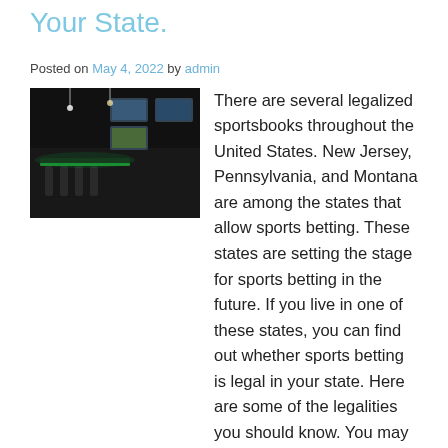Your State.
Posted on May 4, 2022 by admin
[Figure (photo): Interior of a sports bar with dark lighting, green LED accents, bar stools, and multiple TV screens showing sports]
There are several legalized sportsbooks throughout the United States. New Jersey, Pennsylvania, and Montana are among the states that allow sports betting. These states are setting the stage for sports betting in the future. If you live in one of these states, you can find out whether sports betting is legal in your state. Here are some of the legalities you should know. You may even be able to legally open your own sportsbook! In addition to Nevada, these states have other legal sports betting options, too.
Legalized sportsbooks